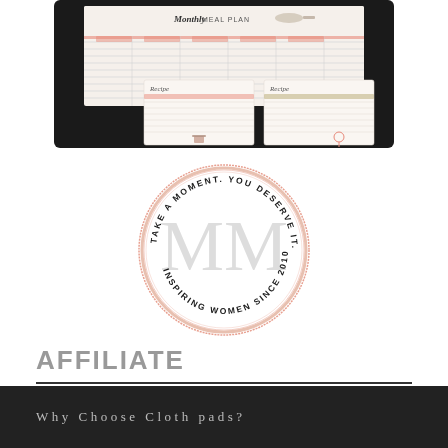[Figure (screenshot): Monthly Meal Plan printable showing a planner sheet with columns for days of the week and two recipe card templates below]
[Figure (logo): Circular logo with text 'TAKE A MOMENT. YOU DESERVE IT.' and 'INSPIRING WOMEN SINCE 2010' around a large MM monogram in the center]
AFFILIATE
Why Choose Cloth pads?